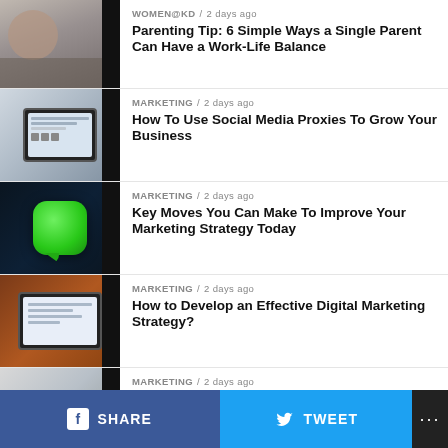WOMEN@KD / 2 days ago
Parenting Tip: 6 Simple Ways a Single Parent Can Have a Work-Life Balance
MARKETING / 2 days ago
How To Use Social Media Proxies To Grow Your Business
MARKETING / 2 days ago
Key Moves You Can Make To Improve Your Marketing Strategy Today
MARKETING / 2 days ago
How to Develop an Effective Digital Marketing Strategy?
MARKETING / 2 days ago
7 Ways Successful Salespeople Prepare...